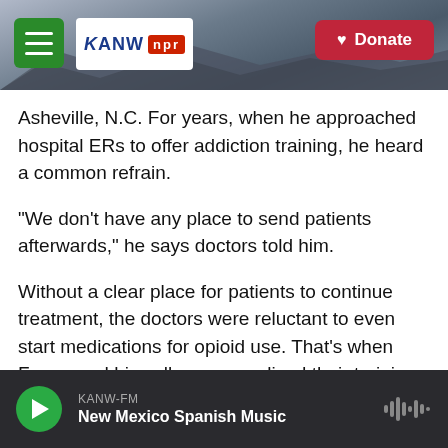[Figure (screenshot): KANW NPR radio station header with logo, hamburger menu, mountain background photo, and Donate button]
Asheville, N.C. For years, when he approached hospital ERs to offer addiction training, he heard a common refrain.
"We don't have any place to send patients afterwards," he says doctors told him.
Without a clear place for patients to continue treatment, the doctors were reluctant to even start medications for opioid use. That's when Fagan and his colleagues realized their training had to extend beyond hospitals.
KANW-FM
New Mexico Spanish Music